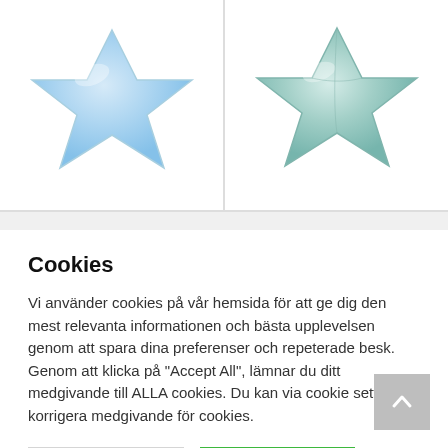[Figure (photo): Two star-shaped foil balloons in a product grid. Left balloon is light blue, right balloon is teal/mint green.]
Cookies
Vi använder cookies på vår hemsida för att ge dig den mest relevanta informationen och bästa upplevelsen genom att spara dina preferenser och repeterade besk. Genom att klicka på "Accept All", lämnar du ditt medgivande till ALLA cookies. Du kan via cookie settings korrigera medgivande för cookies.
[Figure (screenshot): Cookie Settings and Accept All buttons]
[Figure (photo): Bottom product grid with two empty product cells and a back-to-top button]